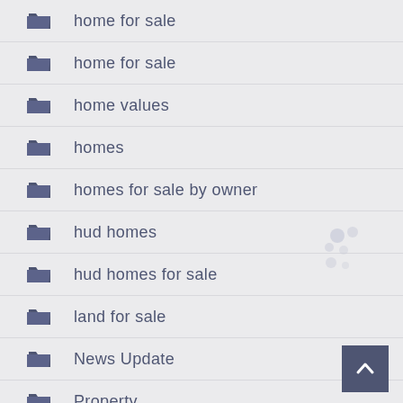home for sale
home for sale
home values
homes
homes for sale by owner
hud homes
hud homes for sale
land for sale
News Update
Property
Uncategorized